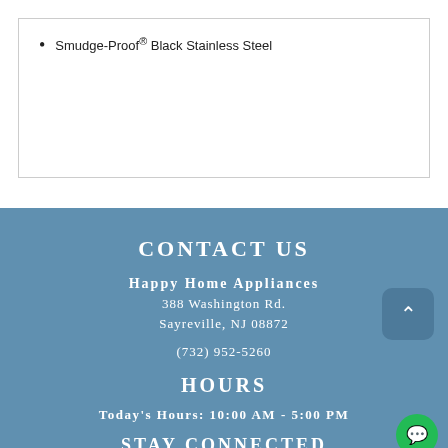Smudge-Proof® Black Stainless Steel
CONTACT US
Happy Home Appliances
388 Washington Rd.
Sayreville, NJ 08872
(732) 952-5260
HOURS
Today's Hours: 10:00 AM - 5:00 PM
STAY CONNECTED